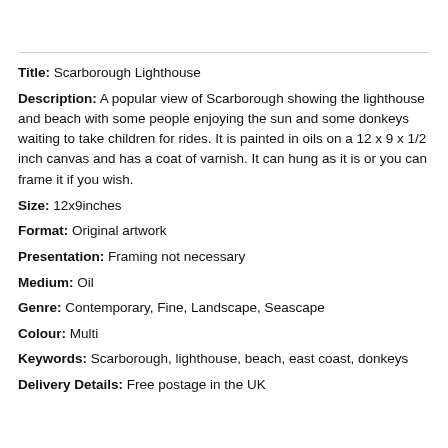Title: Scarborough Lighthouse
Description: A popular view of Scarborough showing the lighthouse and beach with some people enjoying the sun and some donkeys waiting to take children for rides. It is painted in oils on a 12 x 9 x 1/2 inch canvas and has a coat of varnish. It can hung as it is or you can frame it if you wish.
Size: 12x9inches
Format: Original artwork
Presentation: Framing not necessary
Medium: Oil
Genre: Contemporary, Fine, Landscape, Seascape
Colour: Multi
Keywords: Scarborough, lighthouse, beach, east coast, donkeys
Delivery Details: Free postage in the UK